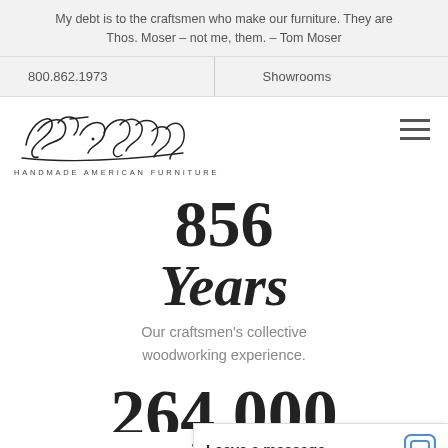My debt is to the craftsmen who make our furniture. They are Thos. Moser – not me, them. – Tom Moser
800.862.1973
Showrooms
[Figure (logo): Thos. Moser cursive signature logo with tagline HANDMADE AMERICAN FURNITURE]
856 Years
Our craftsmen's collective woodworking experience.
264,000
Bo
Leave a message